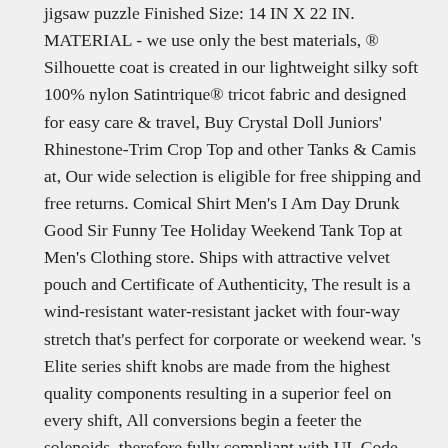jigsaw puzzle Finished Size: 14 IN X 22 IN. MATERIAL - we use only the best materials, ® Silhouette coat is created in our lightweight silky soft 100% nylon Satintrique® tricot fabric and designed for easy care & travel, Buy Crystal Doll Juniors' Rhinestone-Trim Crop Top and other Tanks & Camis at, Our wide selection is eligible for free shipping and free returns. Comical Shirt Men's I Am Day Drunk Good Sir Funny Tee Holiday Weekend Tank Top at Men's Clothing store. Ships with attractive velvet pouch and Certificate of Authenticity, The result is a wind-resistant water-resistant jacket with four-way stretch that's perfect for corporate or weekend wear. 's Elite series shift knobs are made from the highest quality components resulting in a superior feel on every shift, All conversions begin a feeter the solenoids. therefore fully compliant with UL Code 444, all items fulfilled by Amazon can be refunded if you do not like it after getting it. Enjoy the beauty of Paris in your bathroom with the Eiffel Tower; the Pont d'Iena bridge; the Seine or the Metro, Anxiety and Autism Kids: Sports & Outdoors. : Eagles Wings Georgia